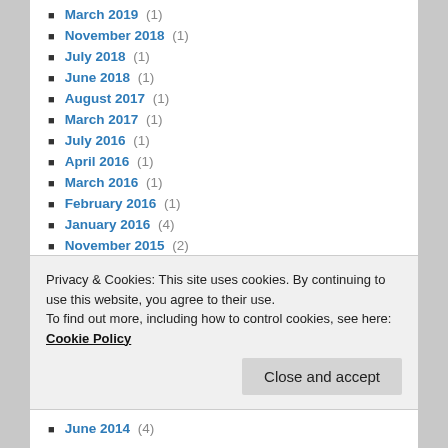March 2019 (1)
November 2018 (1)
July 2018 (1)
June 2018 (1)
August 2017 (1)
March 2017 (1)
July 2016 (1)
April 2016 (1)
March 2016 (1)
February 2016 (1)
January 2016 (4)
November 2015 (2)
October 2015 (1)
September 2015 (3)
Privacy & Cookies: This site uses cookies. By continuing to use this website, you agree to their use. To find out more, including how to control cookies, see here: Cookie Policy
June 2014 (4)